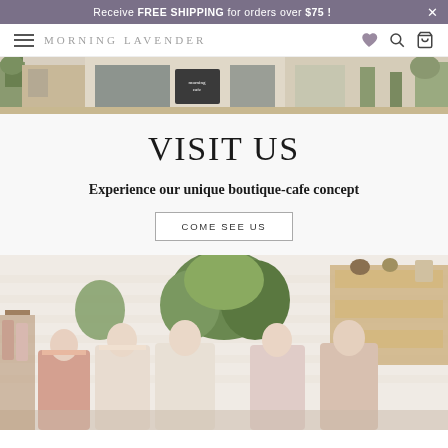Receive FREE SHIPPING for orders over $75 !
[Figure (screenshot): Morning Lavender navigation bar with hamburger menu, brand logo text, heart icon, search icon, and shopping bag icon]
[Figure (photo): Exterior storefront photo of Morning Lavender boutique-cafe showing signage, windows, and plants]
VISIT US
Experience our unique boutique-cafe concept
COME SEE US
[Figure (photo): Interior boutique photo showing mannequins displaying pink and blush-colored dresses and clothing with greenery and wood shelving in background]